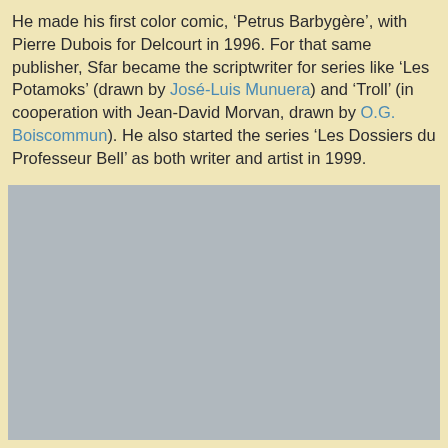He made his first color comic, 'Petrus Barbygère', with Pierre Dubois for Delcourt in 1996. For that same publisher, Sfar became the scriptwriter for series like 'Les Potamoks' (drawn by José-Luis Munuera) and 'Troll' (in cooperation with Jean-David Morvan, drawn by O.G. Boiscommun). He also started the series 'Les Dossiers du Professeur Bell' as both writer and artist in 1999.
[Figure (photo): Gray placeholder image area]